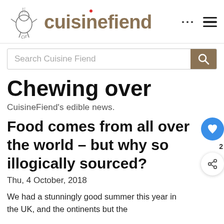cuisinefiend
Search Cuisine Fiend
Chewing over
CuisineFiend's edible news.
Food comes from all over the world – but why so illogically sourced?
Thu, 4 October, 2018
We had a stunningly good summer this year in the UK, and theontinents but the...